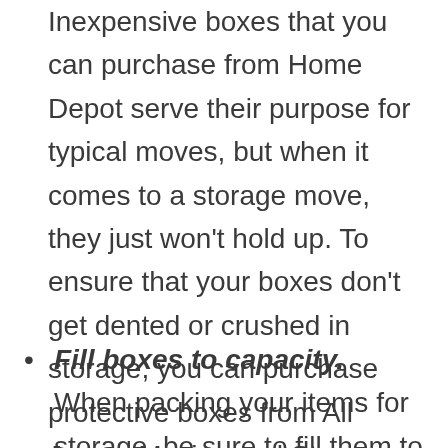Inexpensive boxes that you can purchase from Home Depot serve their purpose for typical moves, but when it comes to a storage move, they just won't hold up. To ensure that your boxes don't get dented or crushed in storage, you can purchase protective boxes from All Jersey Moving and Storage.  Plastic totes are available at Target, Walmart, or similar retail stores.
Fill boxes to capacity. When packing your items for storage, be sure to fill them to capacity whenever possible. Remember,